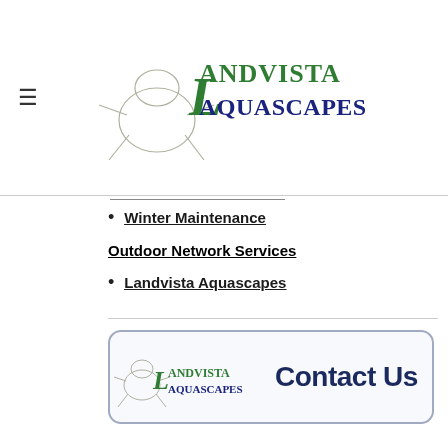[Figure (logo): Landvista Aquascapes logo with frog illustration and green/navy text]
Winter Maintenance
Outdoor Network Services
Landvista Aquascapes
[Figure (logo): Landvista Aquascapes Contact Us banner button with logo and bold navy Contact Us text]
[Figure (logo): Outdoor Network Services logo with circle icon and large blue OUTDOOR text]